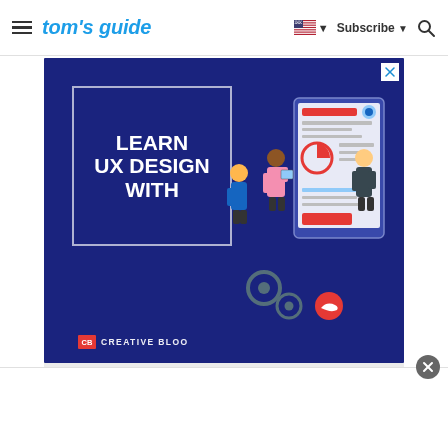tom's guide — Subscribe
[Figure (screenshot): Advertisement banner on dark blue background showing 'LEARN UX DESIGN WITH Creative Bloo' text with illustrated figures of people working around a large mobile/tablet screen displaying UI elements. A white outlined box frames the text on the left side.]
Gray strip below advertisement area